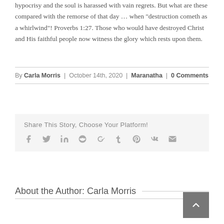hypocrisy and the soul is harassed with vain regrets. But what are these compared with the remorse of that day ... when “destruction cometh as a whirlwind”! Proverbs 1:27. Those who would have destroyed Christ and His faithful people now witness the glory which rests upon them.
By Carla Morris | October 14th, 2020 | Maranatha | 0 Comments
Share This Story, Choose Your Platform!
[Figure (infographic): Social share icons: Facebook, Twitter, LinkedIn, Reddit, Google+, Tumblr, Pinterest, Vk, Email]
About the Author: Carla Morris